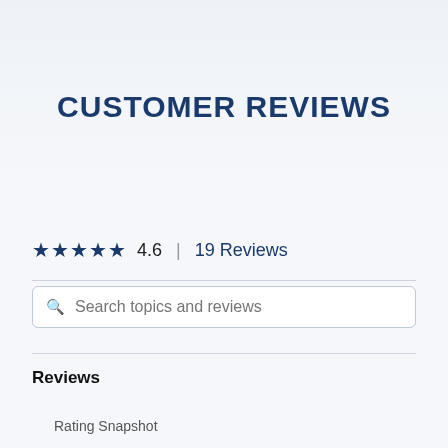CUSTOMER REVIEWS
★★★★★ 4.6 | 19 Reviews
Search topics and reviews
Reviews
Write a review
Rating Snapshot